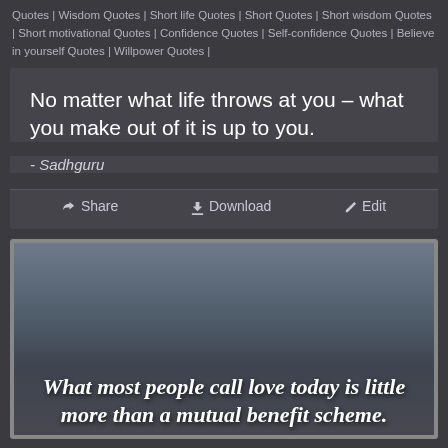Quotes | Wisdom Quotes | Short life Quotes | Short Quotes | Short wisdom Quotes | Short motivational Quotes | Confidence Quotes | Self-confidence Quotes | Believe in yourself Quotes | Willpower Quotes |
No matter what life throws at you – what you make out of it is up to you.
- Sadhguru
Share  Download  Edit
[Figure (photo): A quote image with dark blurred background showing text: 'What most people call love today is little more than a mutual benefit scheme.']